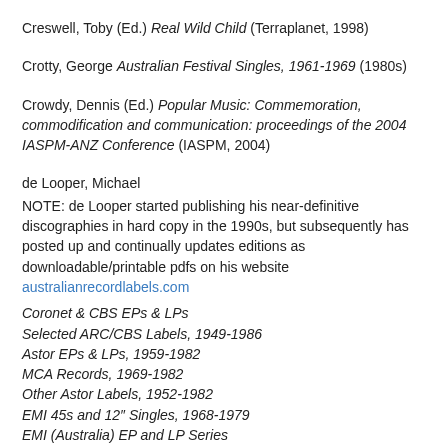Creswell, Toby (Ed.) Real Wild Child (Terraplanet, 1998)
Crotty, George Australian Festival Singles, 1961-1969 (1980s)
Crowdy, Dennis (Ed.) Popular Music: Commemoration, commodification and communication: proceedings of the 2004 IASPM-ANZ Conference (IASPM, 2004)
de Looper, Michael
NOTE: de Looper started publishing his near-definitive discographies in hard copy in the 1990s, but subsequently has posted up and continually updates editions as downloadable/printable pdfs on his website australianrecordlabels.com
Coronet & CBS EPs & LPs
Selected ARC/CBS Labels, 1949-1986
Astor EPs & LPs, 1959-1982
MCA Records, 1969-1982
Other Astor Labels, 1952-1982
EMI 45s and 12" Singles, 1968-1979
EMI (Australia) EP and LP Series